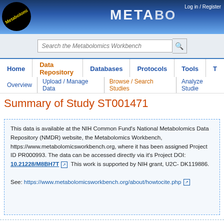[Figure (screenshot): Metabolomics Workbench website header with logo, site title METABO (truncated), Log in / Register link, search bar, and navigation menus]
Log in / Register
METABO (Metabolomics Workbench site header)
Search the Metabolomics Workbench
Home | Data Repository | Databases | Protocols | Tools
Overview | Upload / Manage Data | Browse / Search Studies | Analyze Studies
Summary of Study ST001471
This data is available at the NIH Common Fund's National Metabolomics Data Repository (NMDR) website, the Metabolomics Workbench, https://www.metabolomicsworkbench.org, where it has been assigned Project ID PR000993. The data can be accessed directly via it's Project DOI: 10.21228/M8BH7T  This work is supported by NIH grant, U2C- DK119886.

See: https://www.metabolomicsworkbench.org/about/howtocite.php